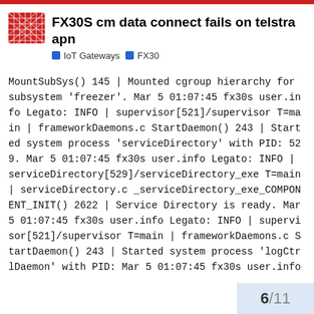FX30S cm data connect fails on telstra apn
IoT Gateways   FX30
MountSubSys() 145 | Mounted cgroup hierarchy for subsystem 'freezer'. Mar 5 01:07:45 fx30s user.info Legato: INFO | supervisor[521]/supervisor T=main | frameworkDaemons.c StartDaemon() 243 | Started system process 'serviceDirectory' with PID: 529. Mar 5 01:07:45 fx30s user.info Legato: INFO | serviceDirectory[529]/serviceDirectory_exe T=main | serviceDirectory.c _serviceDirectory_exe_COMPONENT_INIT() 2622 | Service Directory is ready. Mar 5 01:07:45 fx30s user.info Legato: INFO | supervisor[521]/supervisor T=main | frameworkDaemons.c StartDaemon() 243 | Started system process 'logCtrlDaemon' with PID: Mar 5 01:07:45 fx30s user.info
6 / 11